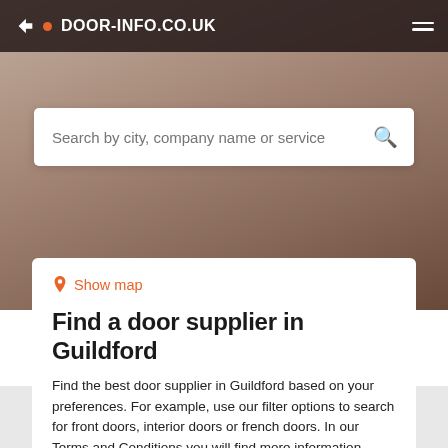DOOR-INFO.CO.UK
[Figure (screenshot): Search bar with placeholder text: Search by city, company name or service]
Show map
Find a door supplier in Guildford
Find the best door supplier in Guildford based on your preferences. For example, use our filter options to search for front doors, interior doors or french doors. In our Terms and Conditions you will find more information about how our search results are generated.
Filters